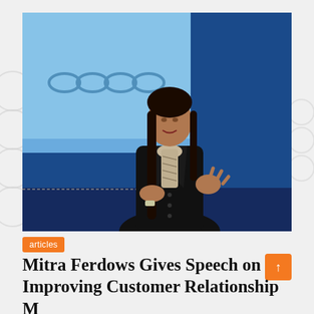[Figure (photo): Woman with long dark hair wearing a dark blazer and patterned scarf, speaking on a stage with a blue presentation screen behind her, gesturing with her hands.]
articles
Mitra Ferdows Gives Speech on Improving Customer Relationship Management and...